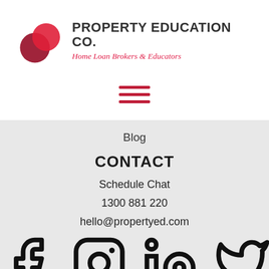[Figure (logo): Property Education Co. logo with overlapping red/dark-red circles and company name and tagline 'Home Loan Brokers & Educators']
[Figure (other): Hamburger menu icon with three dark red horizontal lines]
Blog
CONTACT
Schedule Chat
1300 881 220
hello@propertyed.com
[Figure (other): Social media icons: Facebook, Instagram, LinkedIn, Twitter]